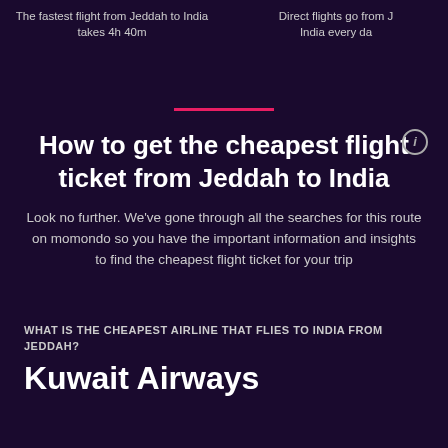The fastest flight from Jeddah to India takes 4h 40m
Direct flights go from Jeddah to India every day
How to get the cheapest flight ticket from Jeddah to India
Look no further. We've gone through all the searches for this route on momondo so you have the important information and insights to find the cheapest flight ticket for your trip
WHAT IS THE CHEAPEST AIRLINE THAT FLIES TO INDIA FROM JEDDAH?
Kuwait Airways